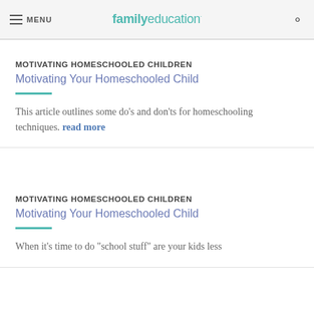MENU | familyeducation
MOTIVATING HOMESCHOOLED CHILDREN
Motivating Your Homeschooled Child
This article outlines some do's and don'ts for homeschooling techniques. read more
MOTIVATING HOMESCHOOLED CHILDREN
Motivating Your Homeschooled Child
When it's time to do "school stuff" are your kids less